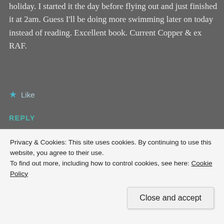holiday. I started it the day before flying out and just finished it at 2am. Guess I'll be doing more swimming later on today instead of reading. Excellent book. Current Copper & ex RAF.
Like
REPLY
mattjohnsonauthor
Privacy & Cookies: This site uses cookies. By continuing to use this website, you agree to their use.
To find out more, including how to control cookies, see here: Cookie Policy
Close and accept